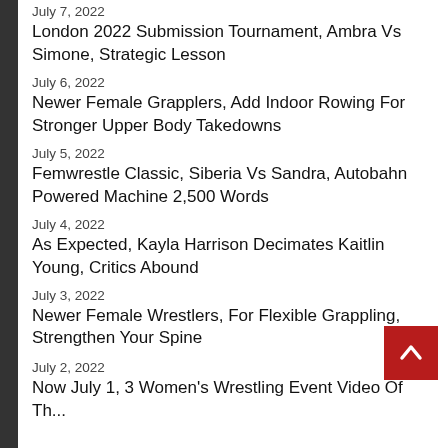July 7, 2022
London 2022 Submission Tournament, Ambra Vs Simone, Strategic Lesson
July 6, 2022
Newer Female Grapplers, Add Indoor Rowing For Stronger Upper Body Takedowns
July 5, 2022
Femwrestle Classic, Siberia Vs Sandra, Autobahn Powered Machine 2,500 Words
July 4, 2022
As Expected, Kayla Harrison Decimates Kaitlin Young, Critics Abound
July 3, 2022
Newer Female Wrestlers, For Flexible Grappling, Strengthen Your Spine
July 2, 2022
Now July 1, 3 Women's Wrestling Event Video Of Th...